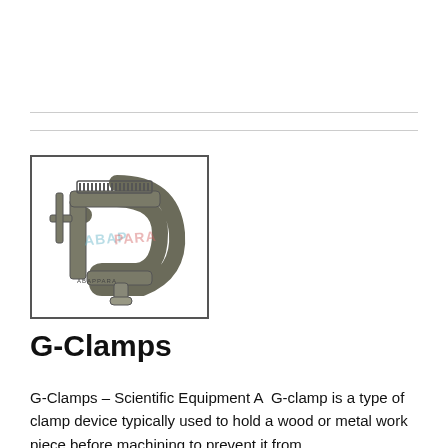[Figure (photo): A G-clamp (C-clamp), a metal clamping device with a screw mechanism and a C-shaped frame, shown on a white background. Watermark text 'ABAPPARA' visible across the image.]
G-Clamps
G-Clamps – Scientific Equipment A  G-clamp is a type of clamp device typically used to hold a wood or metal work piece before machining to prevent it from